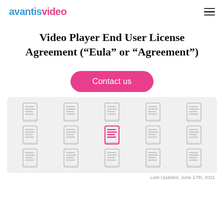avantisvideo [logo] [hamburger menu]
Video Player End User License Agreement (“Eula” or “Agreement”)
[Figure (other): Pink pill-shaped button labeled 'Contact us']
[Figure (other): Grid of 15 document icons (3 rows x 5 columns) on a light grey background; one icon in row 2 column 3 is highlighted in pink/red, the rest are light grey]
Last Updates: June 17th, 2021